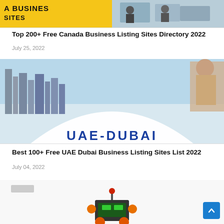[Figure (photo): Partial image of a yellow background with 'A BUSINESS SITES' text on the left and an office meeting scene on the right]
Top 200+ Free Canada Business Listing Sites Directory 2022
July 25, 2022
[Figure (photo): Photo of UAE Dubai skyline with white arch and 'UAE-DUBAI' text in blue, buildings in background]
Best 100+ Free UAE Dubai Business Listing Sites List 2022
July 04, 2022
[Figure (photo): Partially visible image at the bottom showing a robot toy with orange and red elements against a white/grey background]